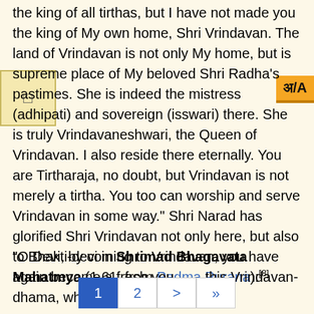the king of all tirthas, but I have not made you the king of My own home, Shri Vrindavan. The land of Vrindavan is not only My home, but is supreme place of My beloved Shri Radha's pastimes. She is indeed the mistress (adhipati) and sovereign (isswari) there. She is truly Vrindavaneshwari, the Queen of Vrindavan. I also reside there eternally. You are Tirtharaja, no doubt, but Vrindavan is not merely a tirtha. You too can worship and serve Vrindavan in some way." Shri Narad has glorified Shri Vrindavan not only here, but also to Bhakti-devi in Shrimad Bhagavata Mahatmya (1.61, from Padma Purana):[8]
"O Devi, by coming to Vrindavan, you have again become a fresh you... this Vrindavan-dhama, where Bhakti is dancing
[Figure (other): UI navigation button with square icon]
[Figure (other): Language toggle button showing अ/A]
[Figure (other): Pagination controls: page 1 (active), 2, >, >>]